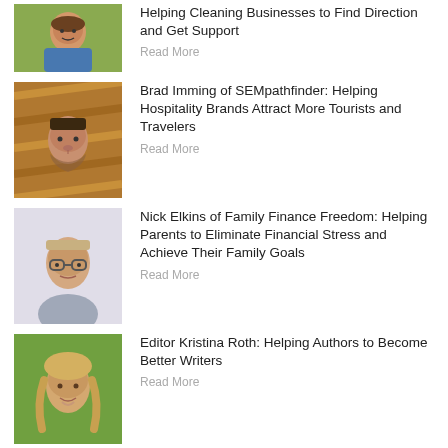[Figure (photo): Portrait of a smiling man outdoors with green foliage background]
Helping Cleaning Businesses to Find Direction and Get Support
Read More
[Figure (photo): Portrait of a young man with short dark hair against a wooden geometric background]
Brad Imming of SEMpathfinder: Helping Hospitality Brands Attract More Tourists and Travelers
Read More
[Figure (photo): Portrait of a man wearing glasses in a light-colored shirt]
Nick Elkins of Family Finance Freedom: Helping Parents to Eliminate Financial Stress and Achieve Their Family Goals
Read More
[Figure (photo): Portrait of a woman with blonde hair outdoors with green background]
Editor Kristina Roth: Helping Authors to Become Better Writers
Read More
Load More